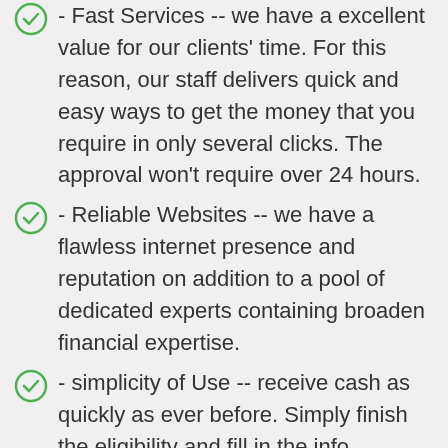- Fast Services -- we have a excellent value for our clients' time. For this reason, our staff delivers quick and easy ways to get the money that you require in only several clicks. The approval won't require over 24 hours.
- Reliable Websites -- we have a flawless internet presence and reputation on addition to a pool of dedicated experts containing broaden financial expertise.
- simplicity of Use -- receive cash as quickly as ever before. Simply finish the eligibility and fill in the info required.
- Digital Security -- we rigorously comply with the GDPR coverage and utilize up-to-date security means such as two-factor authentication, data encryption systems, and other techniques to keep private data